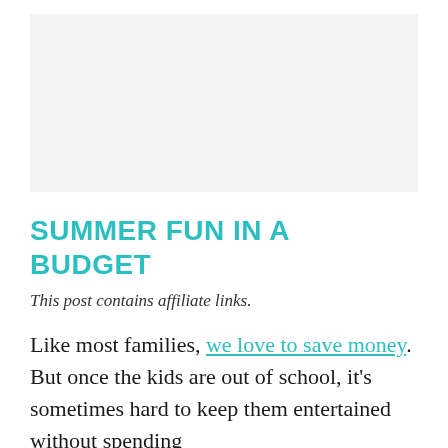[Figure (photo): Placeholder image area with light gray background]
SUMMER FUN IN A BUDGET
This post contains affiliate links.
Like most families, we love to save money. But once the kids are out of school, it's sometimes hard to keep them entertained without spending